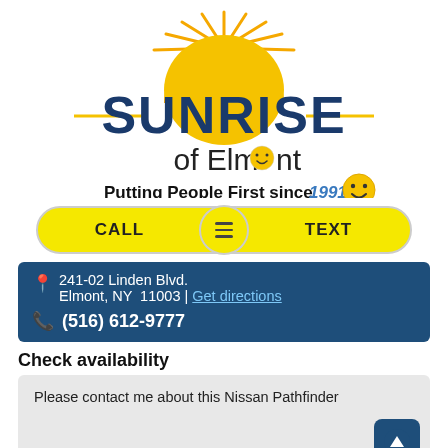[Figure (logo): Sunrise of Elmont logo with sun graphic and smiley face, tagline 'Putting People First since 1991']
CALL | ≡ | TEXT
241-02 Linden Blvd. Elmont, NY 11003 | Get directions
(516) 612-9777
Check availability
Please contact me about this Nissan Pathfinder